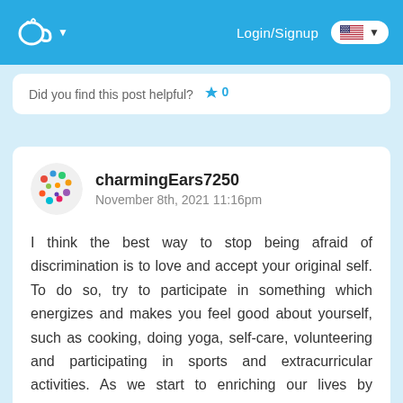Login/Signup
Did you find this post helpful? 0
charmingEars7250
November 8th, 2021 11:16pm
I think the best way to stop being afraid of discrimination is to love and accept your original self. To do so, try to participate in something which energizes and makes you feel good about yourself, such as cooking, doing yoga, self-care, volunteering and participating in sports and extracurricular activities. As we start to enriching our lives by exploring our true talent and what we're good at, our confidence builds and that fear of discrimination would vanish. It is also